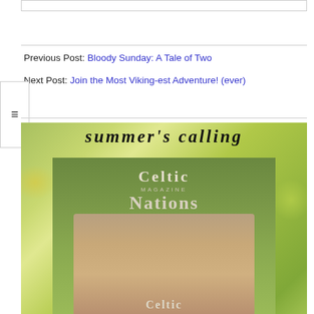Previous Post: Bloody Sunday: A Tale of Two
Next Post: Join the Most Viking-est Adventure! (ever)
[Figure (photo): Magazine cover for Celtic Nations Magazine showing 'Summer's Calling' text at top, a man's face in the center, with a green outdoor background. The magazine logo reads 'Celtic Nations Magazine'.]